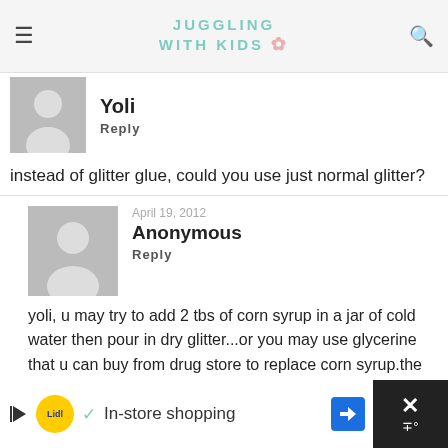JUGGLING WITH KIDS
Yoli
Reply
instead of glitter glue, could you use just normal glitter?
April 19, 2012
Anonymous
Reply
yoli, u may try to add 2 tbs of corn syrup in a jar of cold water then pour in dry glitter...or you may use glycerine that u can buy from drug store to replace corn syrup.the glitters will take some time to sink.
[Figure (other): Advertisement banner for Lidl showing in-store shopping with navigation arrow and close button]